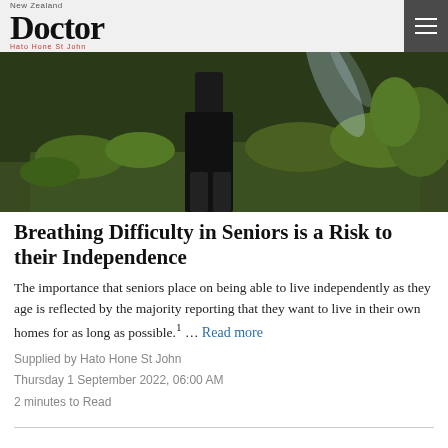New Zealand Doctor
[Figure (photo): Outdoor garden scene showing a person in dark clothing standing among garden beds with water spray visible]
Breathing Difficulty in Seniors is a Risk to their Independence
The importance that seniors place on being able to live independently as they age is reflected by the majority reporting that they want to live in their own homes for as long as possible.1 … Read more
Supplied by Hato Hone St John
Thursday 1 September 2022, 06:00 AM
2 minutes to Read